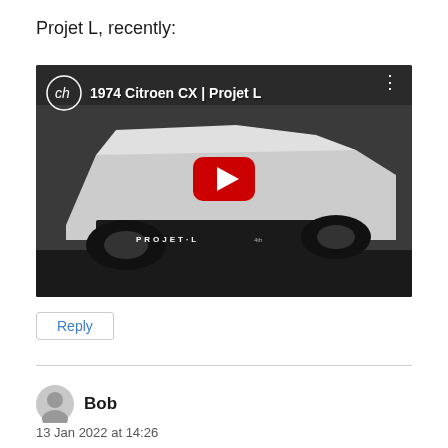Projet L, recently:
[Figure (screenshot): YouTube video thumbnail showing a 1974 Citroen CX white car with the title '1974 Citroen CX | Projet L', a red YouTube play button in the center, and 'PROJET L' text on the car's front bumper.]
Reply
Bob
13 Jan 2022 at 14:26